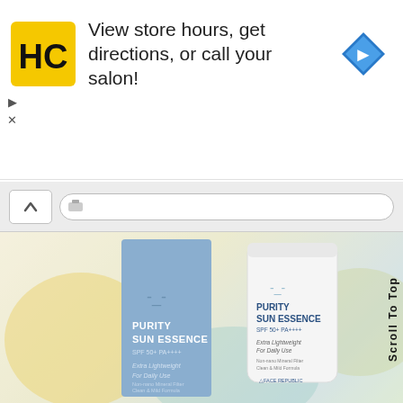[Figure (infographic): Advertisement banner for Hair Club salon. Shows HC logo (yellow square with black HC letters), text 'View store hours, get directions, or call your salon!', and a blue navigation arrow icon on the right.]
[Figure (photo): Product photo of Face Republic Purity Sun Essence SPF 50+ PA++++ showing a blue box/carton and white tube against a soft blurred pastel background (yellow, green, teal blobs).]
Scroll To Top